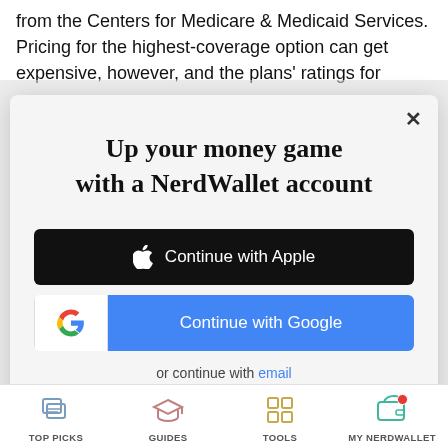from the Centers for Medicare & Medicaid Services. Pricing for the highest-coverage option can get expensive, however, and the plans' ratings for
Up your money game with a NerdWallet account
[Figure (screenshot): Continue with Apple button - black background with Apple logo]
[Figure (screenshot): Continue with Google button - white icon section with Google G logo and blue text section]
or continue with email
By signing up, I agree to NerdWallet's Terms of Service and Privacy Policy.
TOP PICKS    GUIDES    TOOLS    MY NERDWALLET